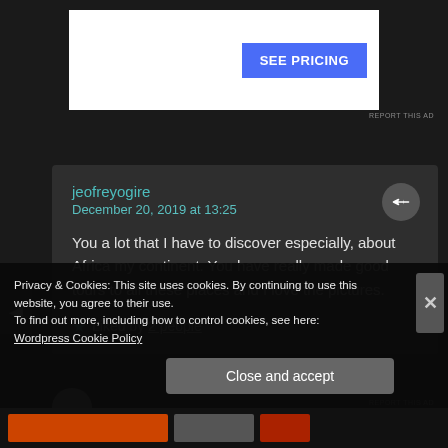[Figure (screenshot): Advertisement banner with 'SEE PRICING' button in blue]
REPORT THIS AD
jeofreyogire
December 20, 2019 at 13:25

You a lot that I have to discover especially, about Africa my continent. You have really made good tours to all these places and I love the pictures.

★ Liked by 2 people
Privacy & Cookies: This site uses cookies. By continuing to use this website, you agree to their use.
To find out more, including how to control cookies, see here:
Wordpress Cookie Policy
Close and accept